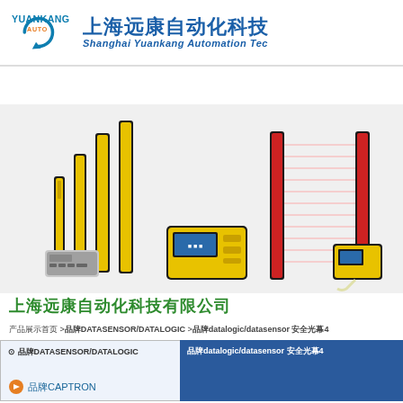[Figure (logo): Yuankang Auto logo with circular arrow design in teal/blue]
上海远康自动化科技
Shanghai Yuankang Automation Tec
首页  公司  产品展示  新闻动态  技术资料  联系我们
[Figure (photo): Safety light curtain sensors and controllers - multiple yellow/black sensor bars and yellow control units, with one unit showing laser beam pattern]
上海远康自动化科技有限公司
产品展示首页 >品牌DATASENSOR/DATALOGIC >品牌datalogic/datasensor 安全光幕4
品牌DATASENSOR/DATALOGIC
品牌datalogic/datasensor 安全光幕4
⊙ 品牌CAPTRON